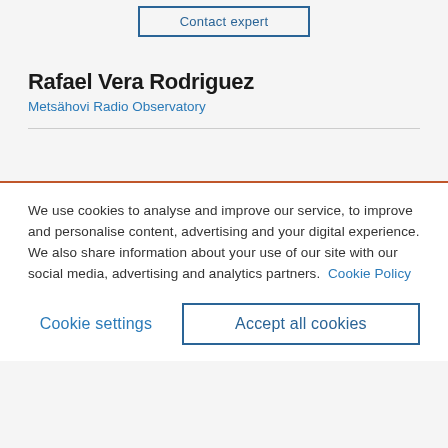Contact expert
Rafael Vera Rodriguez
Metsähovi Radio Observatory
We use cookies to analyse and improve our service, to improve and personalise content, advertising and your digital experience. We also share information about your use of our site with our social media, advertising and analytics partners.  Cookie Policy
Cookie settings
Accept all cookies